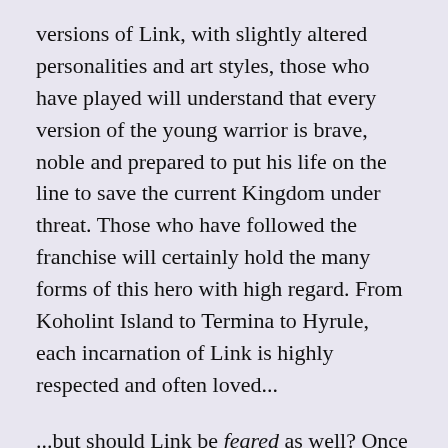versions of Link, with slightly altered personalities and art styles, those who have played will understand that every version of the young warrior is brave, noble and prepared to put his life on the line to save the current Kingdom under threat. Those who have followed the franchise will certainly hold the many forms of this hero with high regard. From Koholint Island to Termina to Hyrule, each incarnation of Link is highly respected and often loved...
...but should Link be feared as well? Once the evil is vanquished, the war is won and Link’s job is complete, what would the hero do next? Does he slip quietly back into the simple life he